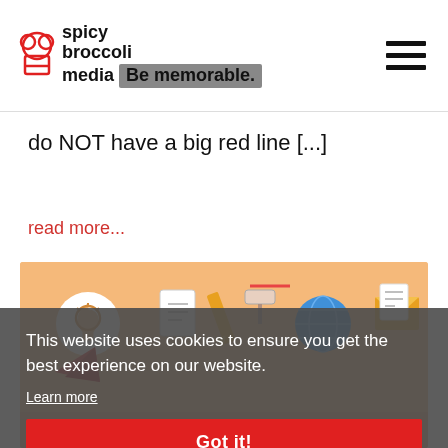spicy broccoli media — Be memorable.
do NOT have a big red line [...]
read more...
[Figure (illustration): Illustration showing icons for website creation: lightbulb, design documents, pencil, paint roller, globe, envelope, and text 'MAKE A WEBSITE' at the bottom on an orange/peach background.]
This website uses cookies to ensure you get the best experience on our website.
Learn more
Got it!